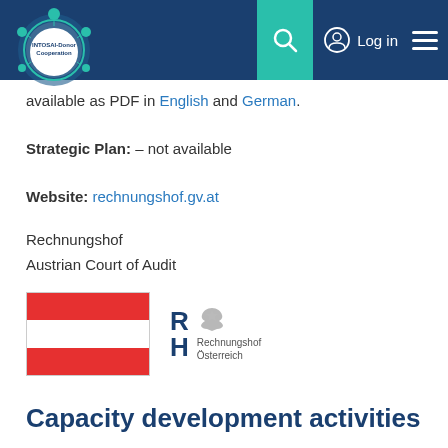INTOSAI-Donor Cooperation
available as PDF in English and German.
Strategic Plan: – not available
Website: rechnungshof.gv.at
Rechnungshof
Austrian Court of Audit
[Figure (logo): Austrian flag (red-white-red horizontal stripes) and Rechnungshof Österreich logo]
Capacity development activities